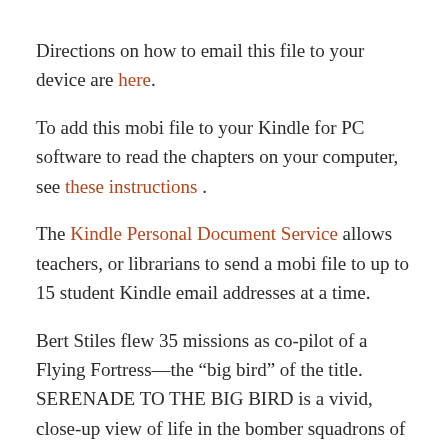Directions on how to email this file to your device are here.
To add this mobi file to your Kindle for PC software to read the chapters on your computer, see these instructions .
The Kindle Personal Document Service allows teachers, or librarians to send a mobi file to up to 15 student Kindle email addresses at a time.
Bert Stiles flew 35 missions as co-pilot of a Flying Fortress—the “big bird” of the title. SERENADE TO THE BIG BIRD is a vivid, close-up view of life in the bomber squadrons of the U.S. Eighth Air Force in World War II. Bert Stiles was a combat co-pilot of a B-17, flying missions over France and Germany in the spring and summer of 1944. This is his book written between missions...